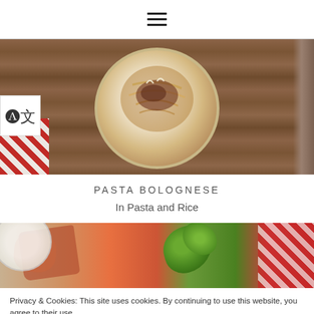≡ (hamburger menu icon)
[Figure (photo): Overhead photo of pasta bolognese in a white bowl on a wooden table with a red and white checkered cloth napkin and a knife on the right side.]
PASTA BOLOGNESE
In Pasta and Rice
[Figure (photo): Partial photo showing food items including what appears to be meat/prosciutto and green basil leaves with a red checkered cloth in the background.]
Privacy & Cookies: This site uses cookies. By continuing to use this website, you agree to their use.
To find out more, including how to control cookies, see here: Cookie Policy
Close and accept
[Figure (photo): Partial photo at bottom of page showing food items.]